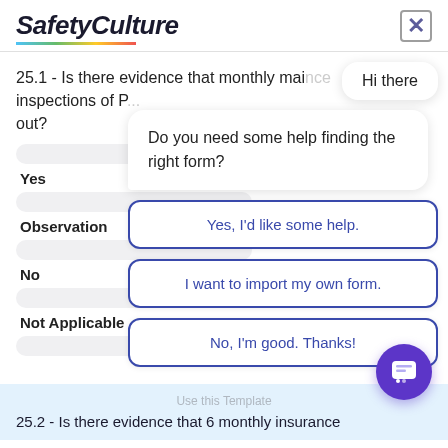SafetyCulture
25.1 - Is there evidence that monthly maintenance inspections of P... out?
Yes
Observation
No
Not Applicable
Hi there
Do you need some help finding the right form?
Yes, I'd like some help.
I want to import my own form.
No, I'm good. Thanks!
Use this Template
25.2 - Is there evidence that 6 monthly insurance